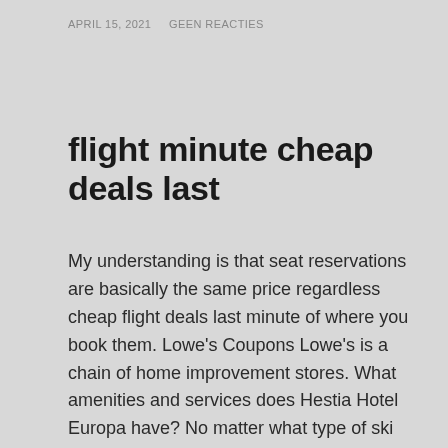APRIL 15, 2021    GEEN REACTIES
flight minute cheap deals last
My understanding is that seat reservations are basically the same price regardless cheap flight deals last minute of where you book them. Lowe's Coupons Lowe's is a chain of home improvement stores. What amenities and services does Hestia Hotel Europa have? No matter what type of ski holiday you like, you'll find it catered for somewhere within the vast array of resorts and accommodation. Please be aware you will need to phone and book to get these deals. Motors for fans used to convey flammable vapors or dusts shall be located outside the duct or shall be protected with